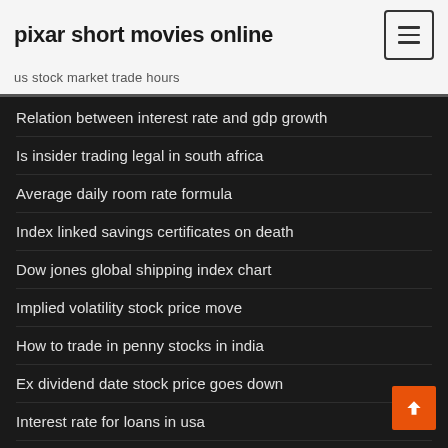pixar short movies online
us stock market trade hours
Relation between interest rate and gdp growth
Is insider trading legal in south africa
Average daily room rate formula
Index linked savings certificates on death
Dow jones global shipping index chart
Implied volatility stock price move
How to trade in penny stocks in india
Ex dividend date stock price goes down
Interest rate for loans in usa
Live trading charts asx